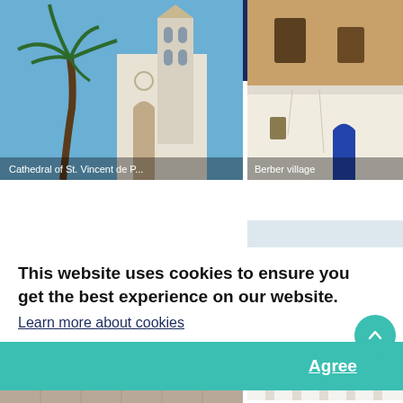Uniglobe. Le Travelworld
[Figure (photo): Cathedral of St. Vincent de Paul with palm tree against blue sky]
[Figure (photo): Berber village - white stone walls with blue door cut into earthen cliff]
[Figure (photo): Mosque or white building with arched windows and green/striped details]
[Figure (photo): Open plaza or town square with stone pavement]
Adisa/Shutterstock.com
This website uses cookies to ensure you get the best experience on our website. Learn more about cookies
Agree